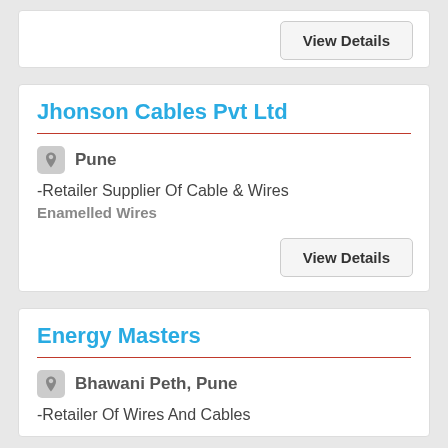View Details
Jhonson Cables Pvt Ltd
Pune
-Retailer Supplier Of Cable & Wires
Enamelled Wires
View Details
Energy Masters
Bhawani Peth, Pune
-Retailer Of Wires And Cables